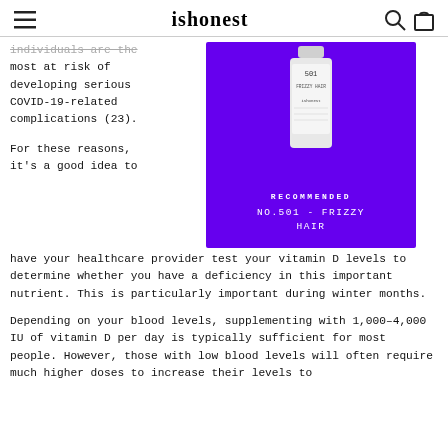ishonest
individuals are the most at risk of developing serious COVID-19-related complications (23).
[Figure (other): Product card with purple background showing ishonest No.501 bottle for Frizzy Hair. Text: RECOMMENDED, NO.501 - FRIZZY HAIR]
For these reasons, it's a good idea to have your healthcare provider test your vitamin D levels to determine whether you have a deficiency in this important nutrient. This is particularly important during winter months.
Depending on your blood levels, supplementing with 1,000–4,000 IU of vitamin D per day is typically sufficient for most people. However, those with low blood levels will often require much higher doses to increase their levels to